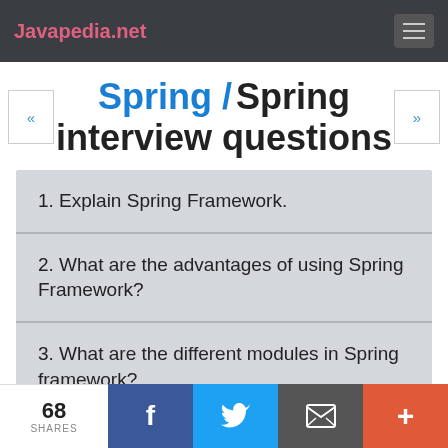Javapedia.net
Spring / Spring interview questions
1. Explain Spring Framework.
2. What are the advantages of using Spring Framework?
3. What are the different modules in Spring framework?
68 SHARES